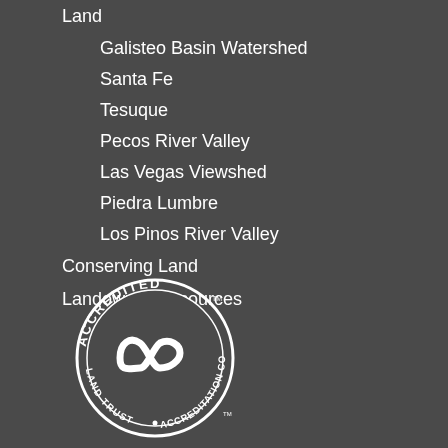Land
Galisteo Basin Watershed
Santa Fe
Tesuque
Pecos River Valley
Las Vegas Viewshed
Piedra Lumbre
Los Pinos River Valley
Conserving Land
Landowner Resources
[Figure (logo): Accredited Land Trust Accreditation Commission circular badge with infinity symbol]